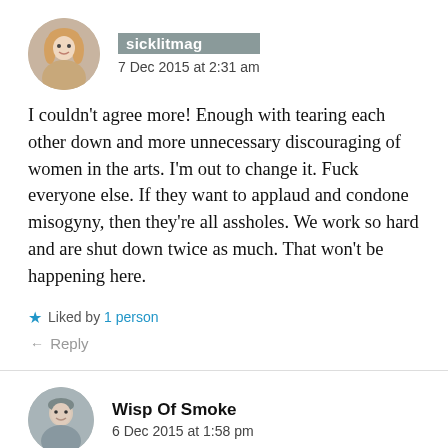[Figure (photo): Circular avatar photo of a blonde woman]
sicklitmag
7 Dec 2015 at 2:31 am
I couldn't agree more! Enough with tearing each other down and more unnecessary discouraging of women in the arts. I'm out to change it. Fuck everyone else. If they want to applaud and condone misogyny, then they're all assholes. We work so hard and are shut down twice as much. That won't be happening here.
Liked by 1 person
Reply
[Figure (photo): Circular avatar photo of a person with short hair]
Wisp Of Smoke
6 Dec 2015 at 1:58 pm